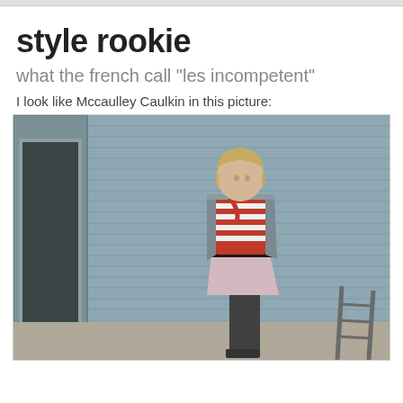style rookie
what the french call "les incompetent"
I look like Mccaulley Caulkin in this picture:
[Figure (photo): A young person with a blonde bowl cut leaning against gray siding of a house. Wearing a gray jacket over a red and white striped shirt, a pink skirt, dark tights, and dark shoes with a red scarf/necklace accessory.]